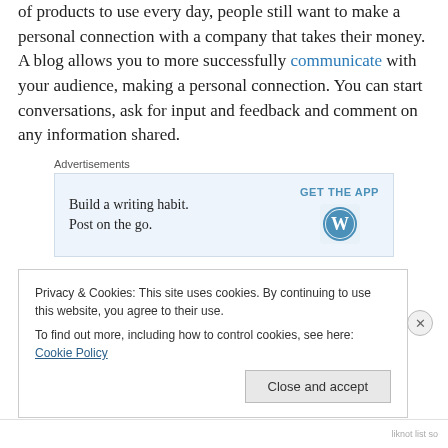of products to use every day, people still want to make a personal connection with a company that takes their money. A blog allows you to more successfully communicate with your audience, making a personal connection. You can start conversations, ask for input and feedback and comment on any information shared.
[Figure (other): Advertisement block: 'Build a writing habit. Post on the go.' with GET THE APP button and WordPress logo]
A Blog Starts the Conversation –
Privacy & Cookies: This site uses cookies. By continuing to use this website, you agree to their use. To find out more, including how to control cookies, see here: Cookie Policy